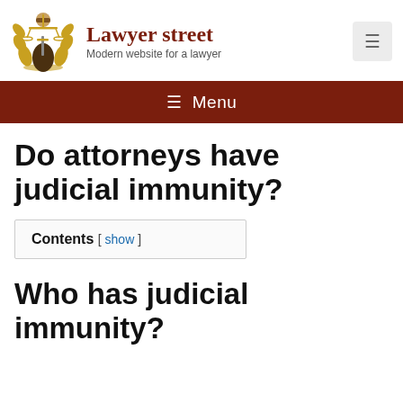[Figure (logo): Lady Justice logo with scales, sword, and laurel wreath in gold/brown colors for 'Lawyer street' website]
Lawyer street
Modern website for a lawyer
☰ Menu
Do attorneys have judicial immunity?
Contents [ show ]
Who has judicial immunity?